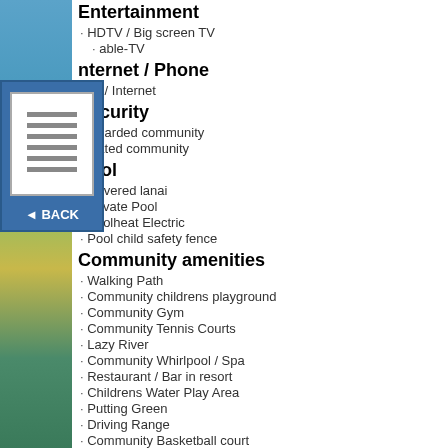Entertainment
HDTV / Big screen TV
Cable-TV
Internet / Phone
WiFi / Internet
Security
Guarded community
Gated community
Pool
Covered lanai
Private Pool
Poolheat Electric
Pool child safety fence
Community amenities
Walking Path
Community childrens playground
Community Gym
Community Tennis Courts
Lazy River
Community Whirlpool / Spa
Restaurant / Bar in resort
Childrens Water Play Area
Putting Green
Driving Range
Community Basketball court
Clubhouse
Community Cinema
Business Facilities
Community Gym
Community Pool